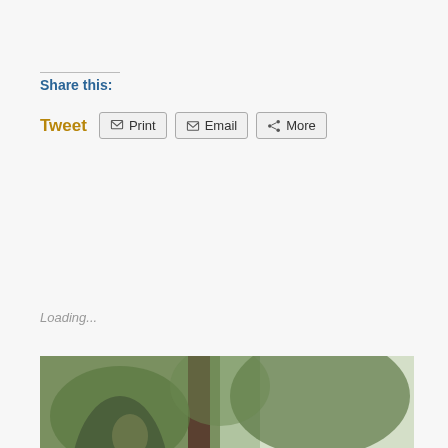Share this:
Tweet  Print  Email  More
Loading...
[Figure (illustration): Religious painting showing a robed figure (Jesus) sitting on a stone wall speaking to several women and observers in a garden setting with trees. One dark-cloaked figure watches from behind a tree on the left.]